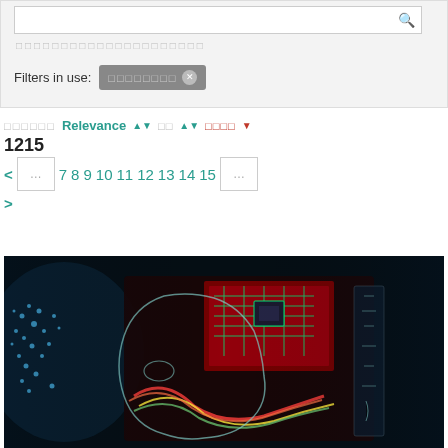Filters in use: ████████ ⊗
█████  Relevance ⇕  □□ ⇕  □□□□ ▾
1215
< … 7 8 9 10 11 12 13 14 15 … >
[Figure (photo): Dark background photo of a cyborg/robot head concept with illuminated circuit board elements, colorful wires (red, yellow, green), and glowing neon-style outlines against a black background. Blue light dots visible on the left side.]